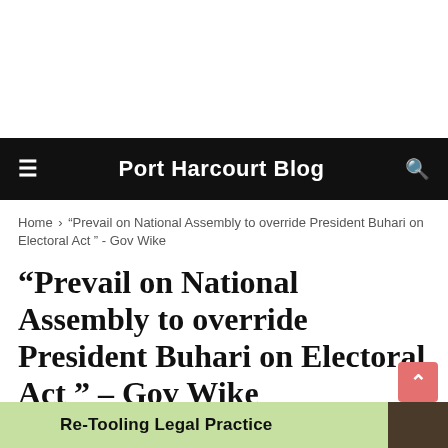Port Harcourt Blog
Home › "Prevail on National Assembly to override President Buhari on Electoral Act " - Gov Wike
“Prevail on National Assembly to override President Buhari on Electoral Act ” – Gov Wike
Port Harcourt Blog
[Figure (screenshot): Bottom banner image with text 'Re-Tooling Legal Practice' on a green background with a dark image on the right]